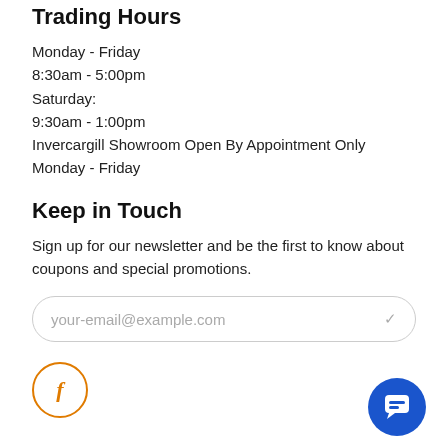Trading Hours
Monday - Friday
8:30am - 5:00pm
Saturday:
9:30am - 1:00pm
Invercargill Showroom Open By Appointment Only Monday - Friday
Keep in Touch
Sign up for our newsletter and be the first to know about coupons and special promotions.
your-email@example.com
[Figure (other): Facebook social media icon in orange circle, and a blue chat bubble button in the bottom right corner]